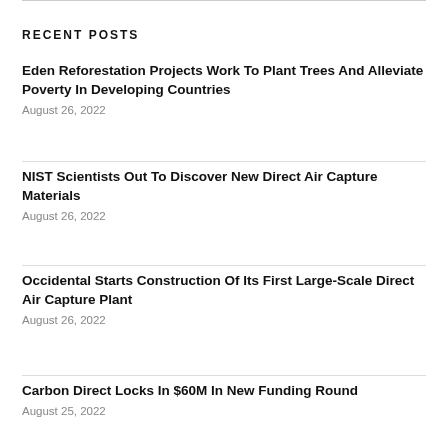RECENT POSTS
Eden Reforestation Projects Work To Plant Trees And Alleviate Poverty In Developing Countries
August 26, 2022
NIST Scientists Out To Discover New Direct Air Capture Materials
August 26, 2022
Occidental Starts Construction Of Its First Large-Scale Direct Air Capture Plant
August 26, 2022
Carbon Direct Locks In $60M In New Funding Round
August 25, 2022